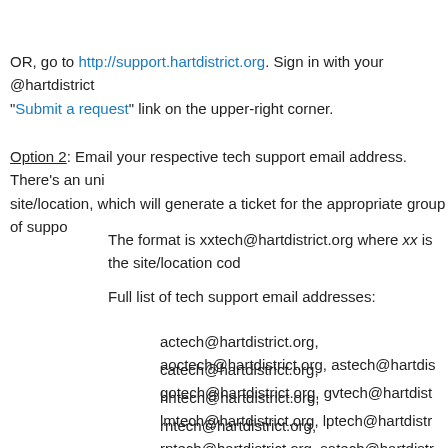OR, go to http://support.hartdistrict.org. Sign in with your @hartdistrict "Submit a request" link on the upper-right corner.
Option 2: Email your respective tech support email address. There's an unique email for each site/location, which will generate a ticket for the appropriate group of support.
The format is xxtech@hartdistrict.org where xx is the site/location code.
Full list of tech support email addresses:
actech@hartdistrict.org, aoctech@hartdistrict.org, astech@hartdistrict.org,
catech@hartdistrict.org, gotech@hartdistrict.org, gvtech@hartdistrict.org,
hhtech@hartdistrict.org, lmtech@hartdistrict.org, lptech@hartdistrict.org,
rntech@hartdistrict.org, rptech@hartdistrict.org, satech@hartdistrict.org,
svtech@hartdistrict.org, vatech@hartdistrict.org, wrtech@hartdistrict.org
* Only valid @hartdistrict.org accounts/addresses can submit or email tickets.
Please be as detailed as possible in your subject and description so we can expedite an answer and/or solution.
Once you've submitted a ticket, you'll receive an email of your ticket # and